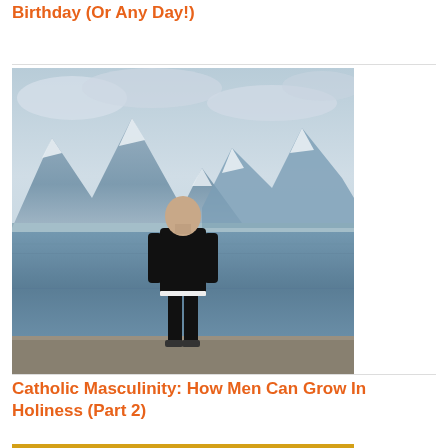A Prayer To Honor Mary On Her Birthday (Or Any Day!)
[Figure (photo): A man dressed in black standing on a stone ledge with his back to the camera, looking out over a lake with snow-capped mountains in the background under a cloudy sky.]
Catholic Masculinity: How Men Can Grow In Holiness (Part 2)
[Figure (illustration): A golden icon-style religious illustration showing a crown with angels on either side, on a yellow/gold background.]